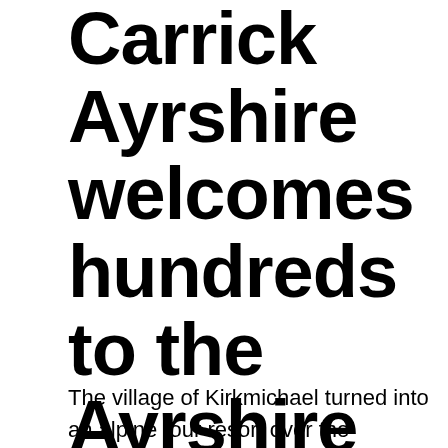Carrick Ayrshire welcomes hundreds to the Ayrshire Alps Sportive
The village of Kirkmichael turned into an alpine tour resort over the weekend as Ayr Burners